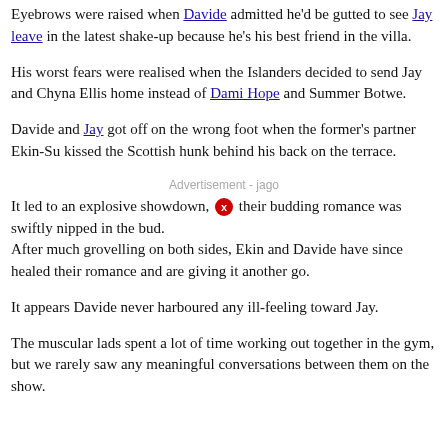Eyebrows were raised when Davide admitted he'd be gutted to see Jay leave in the latest shake-up because he's his best friend in the villa.
His worst fears were realised when the Islanders decided to send Jay and Chyna Ellis home instead of Dami Hope and Summer Botwe.
Davide and Jay got off on the wrong foot when the former's partner Ekin-Su kissed the Scottish hunk behind his back on the terrace.
It led to an explosive showdown, [ad x button] their budding romance was swiftly nipped in the bud.
After much grovelling on both sides, Ekin and Davide have since healed their romance and are giving it another go.
It appears Davide never harboured any ill-feeling toward Jay.
The muscular lads spent a lot of time working out together in the gym, but we rarely saw any meaningful conversations between them on the show.